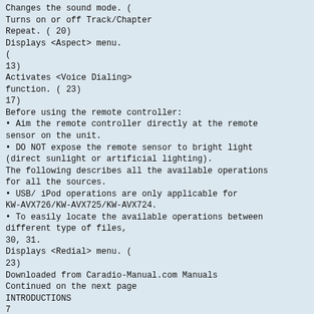Changes the sound mode. (
Turns on or off Track/Chapter Repeat. ( 20)
Displays <Aspect> menu.
(
13)
Activates <Voice Dialing> function. ( 23)
17)
Before using the remote controller:
• Aim the remote controller directly at the remote sensor on the unit.
• DO NOT expose the remote sensor to bright light (direct sunlight or artificial lighting).
The following describes all the available operations for all the sources.
• USB/ iPod operations are only applicable for KW-AVX726/KW-AVX725/KW-AVX724.
• To easily locate the available operations between different type of files,
30, 31.
Displays <Redial> menu. (
23)
Downloaded from Caradio-Manual.com Manuals
Continued on the next page
INTRODUCTIONS
7
• iPod:
– 5 : Enters the main menu (then 5 / ∞ / 4 / ¢ work as menu selecting buttons.)
5 : Returns to the previous menu.
∞ : Confirms the selection.